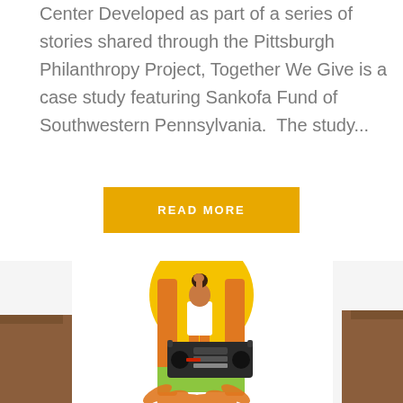Center Developed as part of a series of stories shared through the Pittsburgh Philanthropy Project, Together We Give is a case study featuring Sankofa Fund of Southwestern Pennsylvania.  The study…
READ MORE
[Figure (photo): A t-shirt laid flat on a wooden surface, featuring an illustration of a person standing on a boombox against a yellow/orange background with decorative orange feather-like elements at the bottom.]